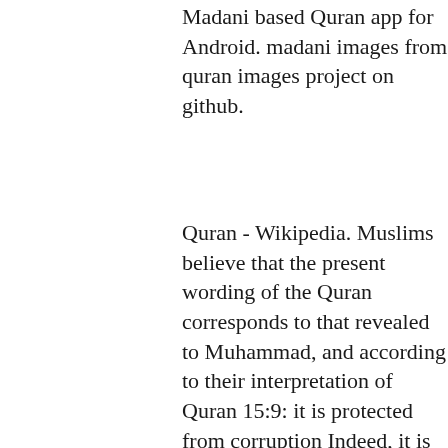Madani based Quran app for Android. madani images from quran images project on github.
Quran - Wikipedia. Muslims believe that the present wording of the Quran corresponds to that revealed to Muhammad, and according to their interpretation of Quran 15:9: it is protected from corruption Indeed, it is We who sent down the Quran and indeed, We will be its guardian.
Quran - Recite Listen Quran Online. Quran - Recite Listen Quran Online. Quran Classes Dua Explorer Salah Explorer Hadith Explorer Quran Science. Indus Hospital Sadqa-E-